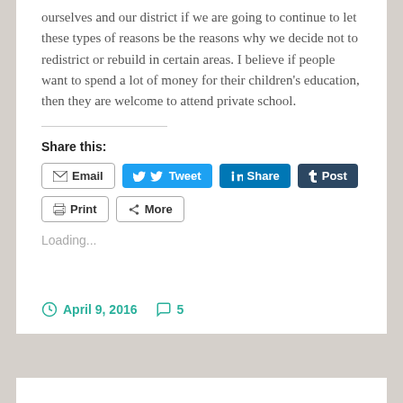ourselves and our district if we are going to continue to let these types of reasons be the reasons why we decide not to redistrict or rebuild in certain areas. I believe if people want to spend a lot of money for their children's education, then they are welcome to attend private school.
Share this:
[Figure (other): Social sharing buttons: Email, Tweet, Share (LinkedIn), Post (Tumblr), Print, More]
Loading...
April 9, 2016   5